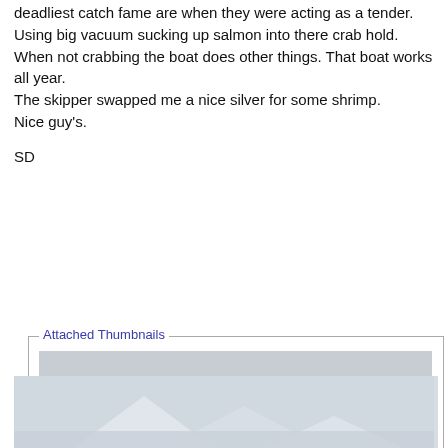deadliest catch fame are when they were acting as a tender. Using big vacuum sucking up salmon into there crab hold. When not crabbing the boat does other things. That boat works all year.
The skipper swapped me a nice silver for some shrimp.
Nice guy's.
SD
Attached Thumbnails
[Figure (photo): A fishing boat with tall rigging and red trim, moored on calm water with forested hills and a snow-capped mountain in the background, overcast sky.]
[Figure (photo): Partial view of a second thumbnail image at the bottom, showing a snowy or icy landscape.]